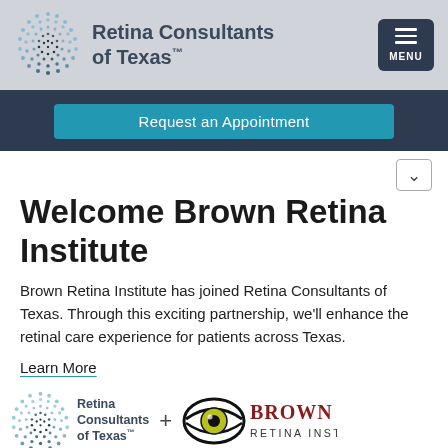[Figure (logo): Retina Consultants of Texas logo with circular dot pattern and text]
Retina Consultants of Texas™
Request an Appointment
Welcome Brown Retina Institute
Brown Retina Institute has joined Retina Consultants of Texas. Through this exciting partnership, we'll enhance the retinal care experience for patients across Texas.
Learn More
[Figure (logo): Retina Consultants of Texas small logo with dot circle and text, plus sign, and Brown Retina Institute logo with eye graphic]